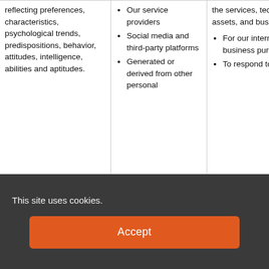| reflecting preferences, characteristics, psychological trends, predispositions, behavior, attitudes, intelligence, abilities and aptitudes. | • Our service providers
• Social media and third-party platforms
• Generated or derived from other personal | the services, technology assets, and business.
• For our internal business purposes.
• To respond to law | of legal proceedings
• In connection with the sale or restructuring of all or part of |
This site uses cookies.